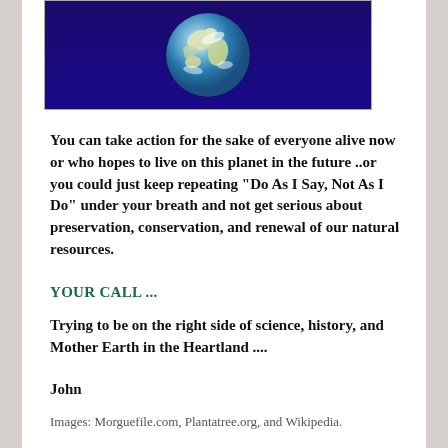[Figure (photo): Photograph of Earth from space against a dark blue/purple background]
You can take action for the sake of everyone alive now or who hopes to live on this planet in the future ..or you could just keep repeating "Do As I Say, Not As I Do" under your breath and not get serious about preservation, conservation, and renewal of our natural resources.
YOUR CALL ...
Trying to be on the right side of science, history, and Mother Earth in the Heartland  ....
John
Images:  Morguefile.com, Plantatree.org, and Wikipedia.